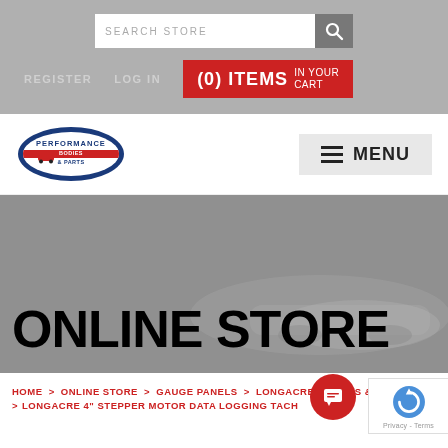SEARCH STORE
REGISTER   LOG IN   (0) ITEMS In Your Cart
[Figure (logo): Performance Bodies & Parts logo with race car graphic, oval shape with red, white, blue coloring]
MENU
ONLINE STORE
HOME > ONLINE STORE > GAUGE PANELS > LONGACRE GAUGES & TACHS > LONGACRE 4" STEPPER MOTOR DATA LOGGING TACH